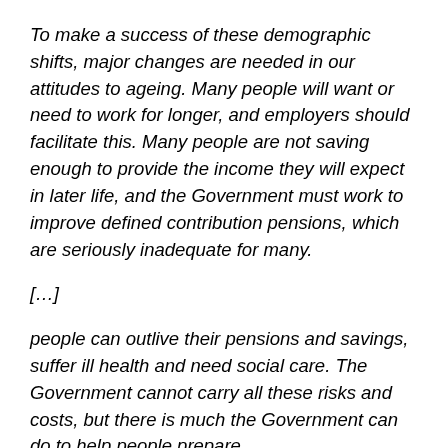To make a success of these demographic shifts, major changes are needed in our attitudes to ageing. Many people will want or need to work for longer, and employers should facilitate this. Many people are not saving enough to provide the income they will expect in later life, and the Government must work to improve defined contribution pensions, which are seriously inadequate for many.
[…]
people can outlive their pensions and savings, suffer ill health and need social care. The Government cannot carry all these risks and costs, but there is much the Government can do to help people prepare
… followed by stuff that's quite common to such analyses: Reforming pensions and savings, and associated